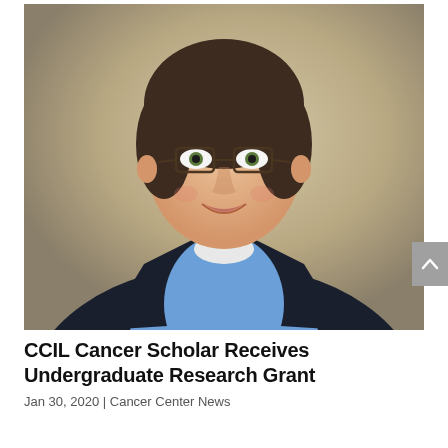[Figure (photo): Professional headshot of a young woman with glasses, wearing a blue textured top and dark blazer, smiling, against a beige/tan blurred background.]
CCIL Cancer Scholar Receives Undergraduate Research Grant
Jan 30, 2020 | Cancer Center News